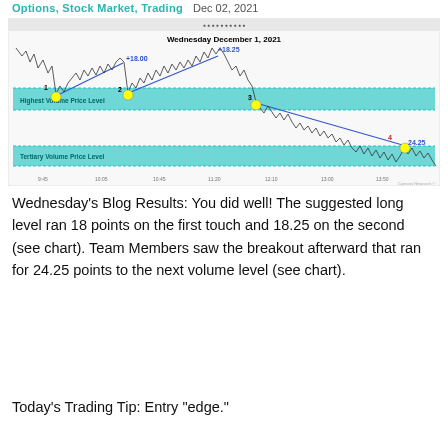Options, Stock Market, Trading   Dec 02, 2021
[Figure (continuous-plot): Stock market intraday candlestick chart for Wednesday December 1, 2021 showing price levels. Chart has cyan/teal horizontal bands labeled 'Highest Volume Price Level' and 'Tertiary Volume Price Level'. Points 1, 2, 3, 4 mark key price levels. Blue trend lines connect the levels. Point 1 and 2 are labeled +18.00, point between 2 and 3 labeled +18.25, point 4 labeled 24.25 in blue. Yellow dots mark key reversal points. Red '4' marks the fourth point.]
Wednesday’s Blog Results: You did well! The suggested long level ran 18 points on the first touch and 18.25 on the second (see chart). Team Members saw the breakout afterward that ran for 24.25 points to the next volume level (see chart).
Today’s Trading Tip: Entry “edge.”